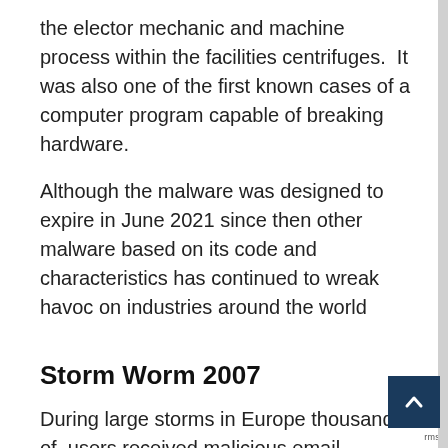the elector mechanic and machine process within the facilities centrifuges.  It was also one of the first known cases of a computer program capable of breaking hardware.
Although the malware was designed to expire in June 2021 since then other malware based on its code and characteristics has continued to wreak havoc on industries around the world
Storm Worm 2007
During large storms in Europe thousands of  users received malicious email disguised as weather information. The email had attachment that when opened infected victims with a Trojan horse malware. The malware spread to 1 million